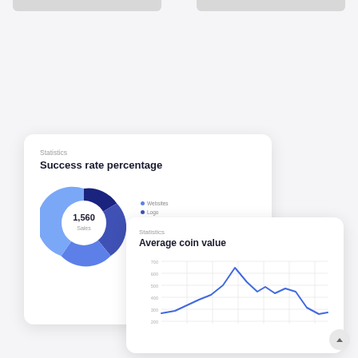[Figure (donut-chart): Success rate percentage]
[Figure (line-chart): Line chart showing average coin value trend with a peak in the middle section]